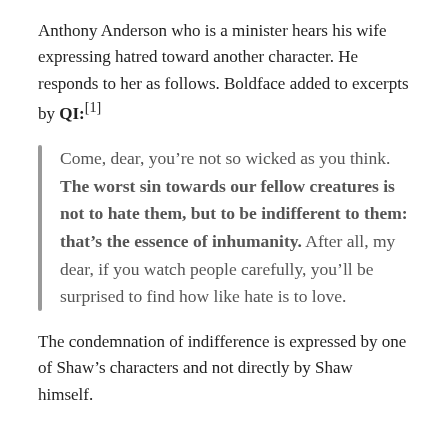Anthony Anderson who is a minister hears his wife expressing hatred toward another character. He responds to her as follows. Boldface added to excerpts by QI:[1]
Come, dear, you’re not so wicked as you think. The worst sin towards our fellow creatures is not to hate them, but to be indifferent to them: that’s the essence of inhumanity. After all, my dear, if you watch people carefully, you’ll be surprised to find how like hate is to love.
The condemnation of indifference is expressed by one of Shaw’s characters and not directly by Shaw himself.